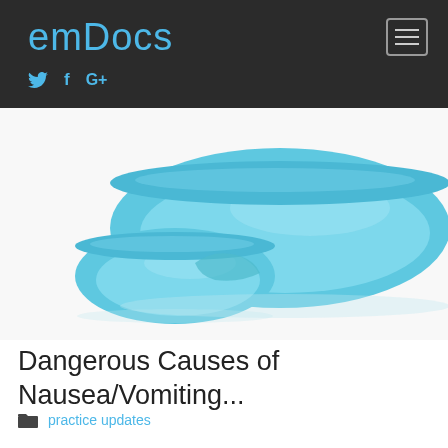emDocs
[Figure (photo): Two light blue plastic kidney-shaped emesis/vomit bowls on white background]
Dangerous Causes of Nausea/Vomiting...
practice updates